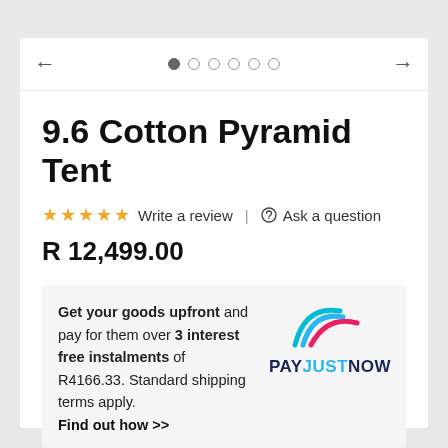[Figure (other): Carousel navigation bar with left arrow, 6 pagination dots (first filled), and right arrow]
9.6 Cotton Pyramid Tent
☆☆☆☆☆ Write a review  |  💬 Ask a question
R 12,499.00
Get your goods upfront and pay for them over 3 interest free instalments of R4166.33. Standard shipping terms apply. Find out how >>